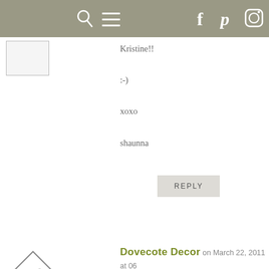[navigation bar with search, menu, facebook, pinterest, instagram icons]
Kristine!!

:-)

xoxo

shaunna
REPLY
Dovecote Decor on March 22, 2011 at 06 AM
Loved the post! Come visit us at Dovecote Decor to see our fabulous French Basketeer Giveaway!

Best,

Liz